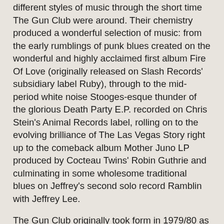different styles of music through the short time The Gun Club were around. Their chemistry produced a wonderful selection of music: from the early rumblings of punk blues created on the wonderful and highly acclaimed first album Fire Of Love (originally released on Slash Records' subsidiary label Ruby), through to the mid-period white noise Stooges-esque thunder of the glorious Death Party E.P. recorded on Chris Stein's Animal Records label, rolling on to the evolving brilliance of The Las Vegas Story right up to the comeback album Mother Juno LP produced by Cocteau Twins' Robin Guthrie and culminating in some wholesome traditional blues on Jeffrey's second solo record Ramblin with Jeffrey Lee.
The Gun Club originally took form in 1979/80 as Creeping Ritual (a lurid moniker later used by Jeffrey as a calling card for The Gun Club's publishing company). It is well documented that Jeffrey was originally a writer for the long-defunct L.A. music paper Slash magazine which later evolved into Slash Records.
Writing aside, Jeffrey was no stranger to performing and had been in various bands such as Phast Phreddie's Precisions and groups of his own called the E Types and Red Lights, early pop outfits apparently inspired by Blondie whom Jeffrey had met in Los